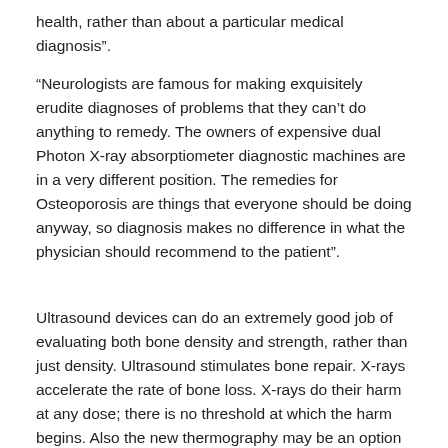health, rather than about a particular medical diagnosis”.
“Neurologists are famous for making exquisitely erudite diagnoses of problems that they can’t do anything to remedy. The owners of expensive dual Photon X-ray absorptiometer diagnostic machines are in a very different position. The remedies for Osteoporosis are things that everyone should be doing anyway, so diagnosis makes no difference in what the physician should recommend to the patient”.
Ultrasound devices can do an extremely good job of evaluating both bone density and strength, rather than just density. Ultrasound stimulates bone repair. X-rays accelerate the rate of bone loss. X-rays do their harm at any dose; there is no threshold at which the harm begins. Also the new thermography may be an option worth looking at as an alternative.
If your physician prescribes a Bone Density Test, remember Dr